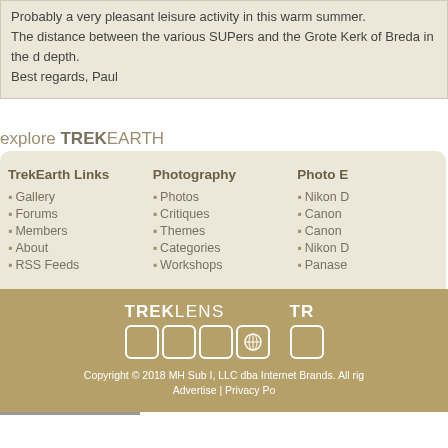Probably a very pleasant leisure activity in this warm summer.
The distance between the various SUPers and the Grote Kerk of Breda in the d... depth.
Best regards, Paul
explore TREKEARTH
TrekEarth Links
• Gallery
• Forums
• Members
• About
• RSS Feeds
Photography
• Photos
• Critiques
• Themes
• Categories
• Workshops
Photo E...
• Nikon ...
• Canon ...
• Canon ...
• Nikon ...
• Panase...
[Figure (logo): TREKLENS logo with icon boxes and globe icon]
Copyright © 2018 MH Sub I, LLC dba Internet Brands. All rig... | Advertise | Privacy Po...